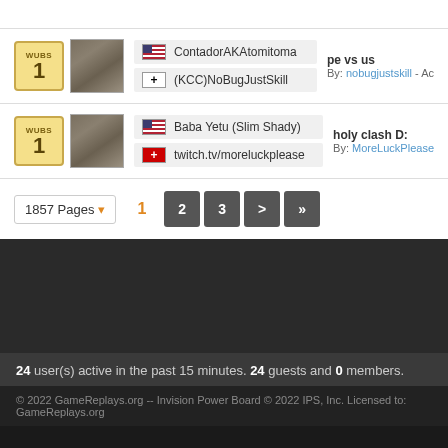WUBS 1 | ContadorAKAtomitoma vs (KCC)NoBugJustSkill | pe vs us | By: nobugjustskill
WUBS 1 | Baba Yetu (Slim Shady) vs twitch.tv/moreluckplease | holy clash D: | By: MoreLuckPlease
1857 Pages 1 2 3 > »
24 user(s) active in the past 15 minutes. 24 guests and 0 members.
© 2022 GameReplays.org -- Invision Power Board © 2022 IPS, Inc. Licensed to: GameReplays.org